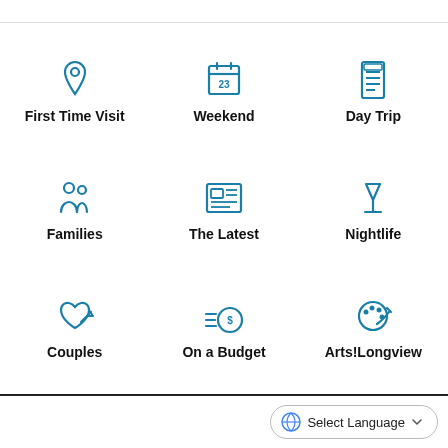[Figure (infographic): 3x3 grid of category icons with labels: First Time Visit (location pin icon), Weekend (calendar icon), Day Trip (checklist icon), Families (people icon), The Latest (newspaper icon), Nightlife (wine glass icon), Couples (heart with arrow icon), On a Budget (coins with speed lines icon), Arts!Longview (palette icon)]
Select Language